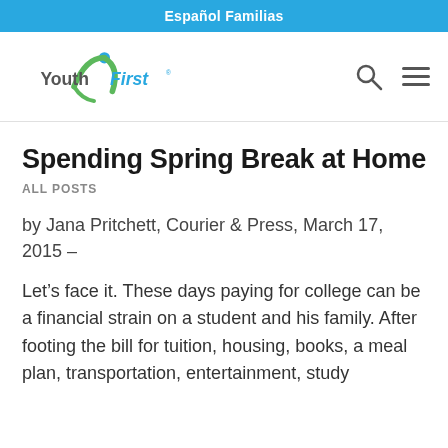Español Familias
[Figure (logo): Youth First logo with green figure and blue text]
Spending Spring Break at Home
ALL POSTS
by Jana Pritchett, Courier & Press, March 17, 2015 –
Let's face it. These days paying for college can be a financial strain on a student and his family. After footing the bill for tuition, housing, books, a meal plan, transportation, entertainment, study